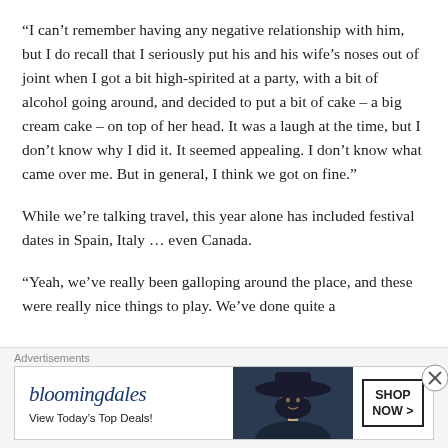“I can’t remember having any negative relationship with him, but I do recall that I seriously put his and his wife’s noses out of joint when I got a bit high-spirited at a party, with a bit of alcohol going around, and decided to put a bit of cake – a big cream cake – on top of her head. It was a laugh at the time, but I don’t know why I did it. It seemed appealing. I don’t know what came over me. But in general, I think we got on fine.”
While we’re talking travel, this year alone has included festival dates in Spain, Italy … even Canada.
“Yeah, we’ve really been galloping around the place, and these were really nice things to play. We’ve done quite a
[Figure (other): Bloomingdale's advertisement banner with logo, tagline 'View Today's Top Deals!', image of woman with wide-brim hat, and 'SHOP NOW >' button]